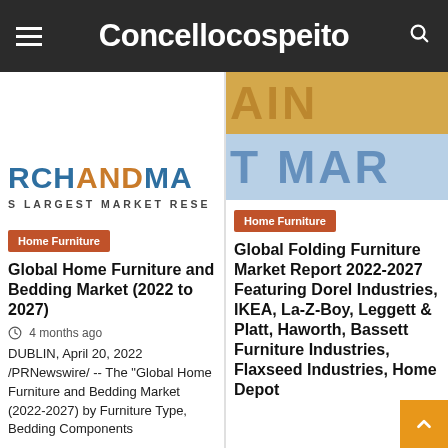Concellocospeito
[Figure (logo): RCHANDMA / S LARGEST MARKET RESE logo on white background]
[Figure (photo): Blurred colorful text AIN on orange/yellow background top, T MAR on blue background bottom]
Home Furniture
Home Furniture
Global Home Furniture and Bedding Market (2022 to 2027)
4 months ago
DUBLIN, April 20, 2022 /PRNewswire/ -- The "Global Home Furniture and Bedding Market (2022-2027) by Furniture Type, Bedding Components
Global Folding Furniture Market Report 2022-2027 Featuring Dorel Industries, IKEA, La-Z-Boy, Leggett & Platt, Haworth, Bassett Furniture Industries, Flaxseed Industries, Home Depot